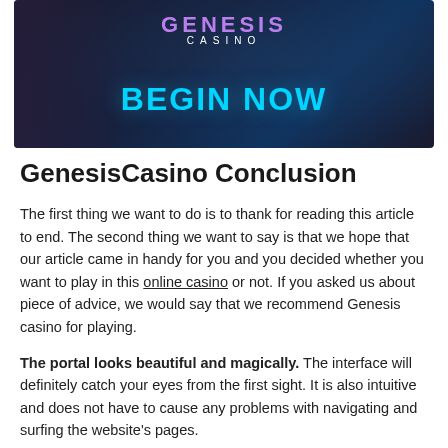[Figure (illustration): Genesis Casino banner with dark space-themed background, a silhouetted figure on the left, the Genesis Casino logo in purple and white at the top center, and large cyan 'BEGIN NOW' text at the bottom center.]
GenesisCasino Conclusion
The first thing we want to do is to thank for reading this article to end. The second thing we want to say is that we hope that our article came in handy for you and you decided whether you want to play in this online casino or not. If you asked us about piece of advice, we would say that we recommend Genesis casino for playing.
The portal looks beautiful and magically. The interface will definitely catch your eyes from the first sight. It is also intuitive and does not have to cause any problems with navigating and surfing the website's pages.